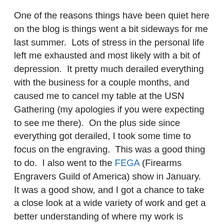One of the reasons things have been quiet here on the blog is things went a bit sideways for me last summer.  Lots of stress in the personal life left me exhausted and most likely with a bit of depression.  It pretty much derailed everything with the business for a couple months, and caused me to cancel my table at the USN Gathering (my apologies if you were expecting to see me there).  On the plus side since everything got derailed, I took some time to focus on the engraving.  This was a good thing to do.  I also went to the FEGA (Firearms Engravers Guild of America) show in January.  It was a good show, and I got a chance to take a close look at a wide variety of work and get a better understanding of where my work is compared to folks who are currently working in the field.
Lots of things are getting revamped around here.  I'm in the process of changing how I make things, diversifying...